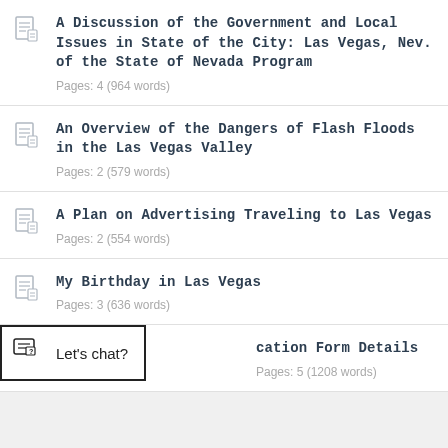A Discussion of the Government and Local Issues in State of the City: Las Vegas, Nev. of the State of Nevada Program
Pages: 4 (964 words)
An Overview of the Dangers of Flash Floods in the Las Vegas Valley
Pages: 2 (579 words)
A Plan on Advertising Traveling to Las Vegas
Pages: 2 (554 words)
My Birthday in Las Vegas
Pages: 3 (636 words)
cation Form Details
Pages: 5 (1208 words)